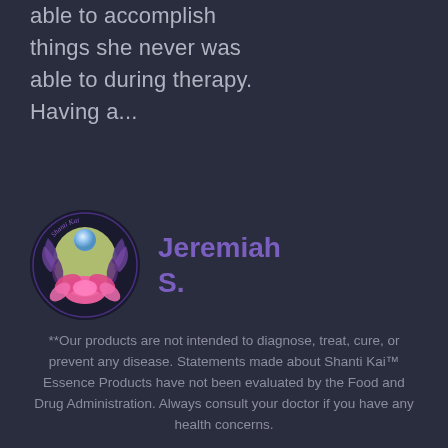able to accomplish things she never was able to during therapy. Having a...
[Figure (logo): Shanti Kai circular logo with lotus flower and moon motif on dark purple background]
Jeremiah S.
**Our products are not intended to diagnose, treat, cure, or prevent any disease. Statements made about Shanti Kai™ Essence Products have not been evaluated by the Food and Drug Administration. Always consult your doctor if you have any health concerns.